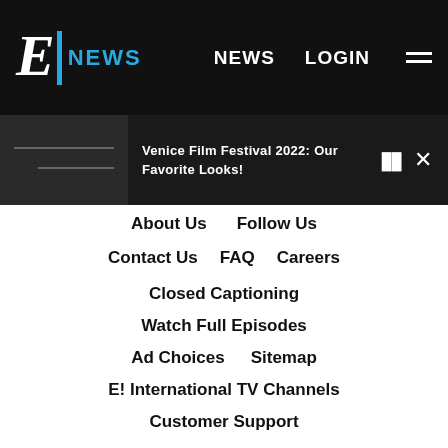E! NEWS | NEWS | LOGIN
[Figure (screenshot): E! News logo with white E letter and blue NEWS text on black background]
Venice Film Festival 2022: Our Favorite Looks!
About Us
Follow Us
Contact Us
FAQ
Careers
Closed Captioning
Watch Full Episodes
Ad Choices
Sitemap
E! International TV Channels
Customer Support
People's Choice
People's Choice FAQ
Become an E! Influencer